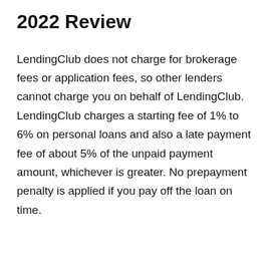2022 Review
LendingClub does not charge for brokerage fees or application fees, so other lenders cannot charge you on behalf of LendingClub. LendingClub charges a starting fee of 1% to 6% on personal loans and also a late payment fee of about 5% of the unpaid payment amount, whichever is greater. No prepayment penalty is applied if you pay off the loan on time.